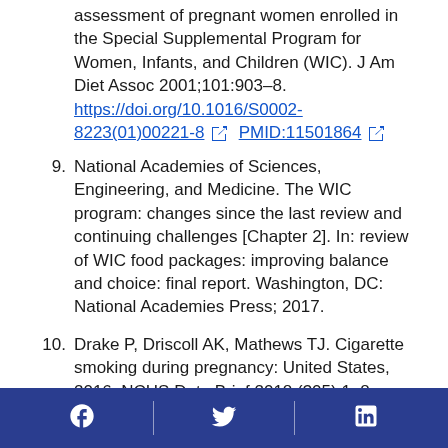assessment of pregnant women enrolled in the Special Supplemental Program for Women, Infants, and Children (WIC). J Am Diet Assoc 2001;101:903–8. https://doi.org/10.1016/S0002-8223(01)00221-8  PMID:11501864
9. National Academies of Sciences, Engineering, and Medicine. The WIC program: changes since the last review and continuing challenges [Chapter 2]. In: review of WIC food packages: improving balance and choice: final report. Washington, DC: National Academies Press; 2017.
10. Drake P, Driscoll AK, Mathews TJ. Cigarette smoking during pregnancy: United States, 2016. NCHS Data Brief 2018;(305):1–8.
Social media icons: Facebook, Twitter, LinkedIn